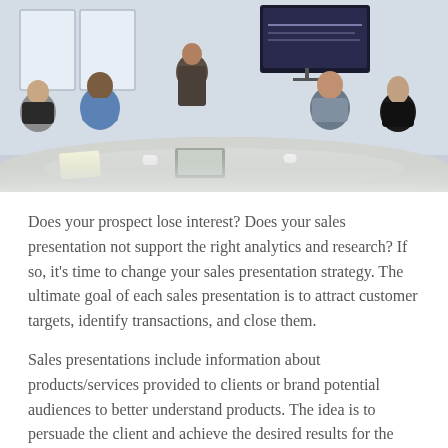[Figure (photo): Business meeting scene with several professionals seated around a conference table. A presenter stands near a display screen at the far end. Participants include men and women of diverse backgrounds, some with laptops and notebooks on the table.]
Does your prospect lose interest? Does your sales presentation not support the right analytics and research? If so, it's time to change your sales presentation strategy. The ultimate goal of each sales presentation is to attract customer targets, identify transactions, and close them.
Sales presentations include information about products/services provided to clients or brand potential audiences to better understand products. The idea is to persuade the client and achieve the desired results for the organization. Get sales presentation training for your